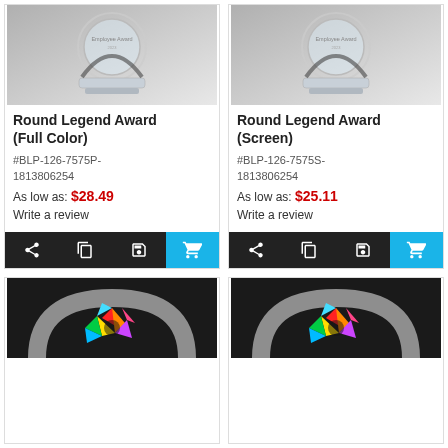[Figure (photo): Crystal round legend award trophy on grey background - Full Color version]
Round Legend Award (Full Color)
#BLP-126-7575P-1813806254
As low as: $28.49
Write a review
[Figure (photo): Crystal round legend award trophy on grey background - Screen version]
Round Legend Award (Screen)
#BLP-126-7575S-1813806254
As low as: $25.11
Write a review
[Figure (photo): Crystal arch award with colorful spiky design on dark background]
[Figure (photo): Crystal arch award with colorful spiky design on dark background - second variant]